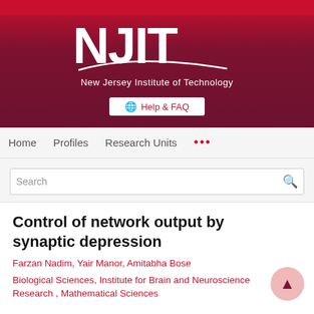[Figure (logo): NJIT - New Jersey Institute of Technology logo with white NJIT text and swoosh on dark red/maroon background, with Help & FAQ button]
Home   Profiles   Research Units   ...
Search
Control of network output by synaptic depression
Farzan Nadim, Yair Manor, Amitabha Bose
Biological Sciences, Institute for Brain and Neuroscience Research , Mathematical Sciences